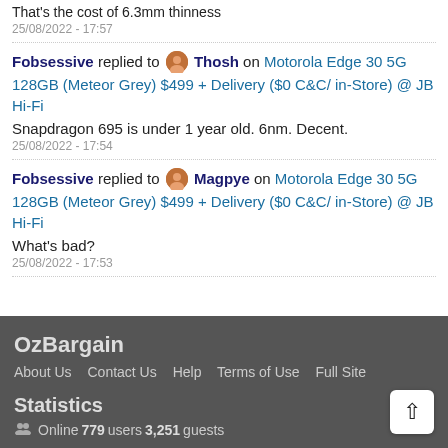That's the cost of 6.3mm thinness
25/08/2022 - 17:57
Fobsessive replied to Thosh on Motorola Edge 30 5G 128GB (Meteor Grey) $499 + Delivery ($0 C&C/ in-Store) @ JB Hi-Fi
Snapdragon 695 is under 1 year old. 6nm. Decent.
25/08/2022 - 17:54
Fobsessive replied to Magpye on Motorola Edge 30 5G 128GB (Meteor Grey) $499 + Delivery ($0 C&C/ in-Store) @ JB Hi-Fi
What's bad?
25/08/2022 - 17:53
OzBargain About Us Contact Us Help Terms of Use Full Site Statistics Online 779 users 3,251 guests